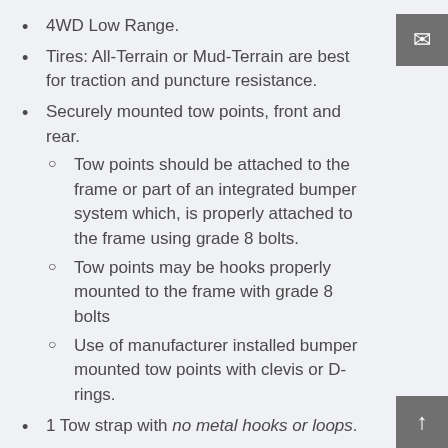4WD Low Range.
Tires: All-Terrain or Mud-Terrain are best for traction and puncture resistance.
Securely mounted tow points, front and rear.
Tow points should be attached to the frame or part of an integrated bumper system which, is properly attached to the frame using grade 8 bolts.
Tow points may be hooks properly mounted to the frame with grade 8 bolts
Use of manufacturer installed bumper mounted tow points with clevis or D-rings.
1 Tow strap with no metal hooks or loops.
Arrive with a full tank of gas.
Waiver of Liability